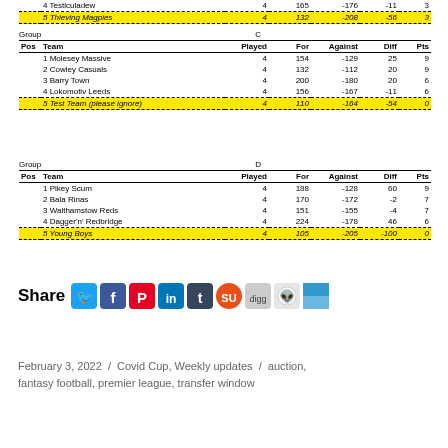| Pos | Team | Played | For | Against | Diff | Pts |
| --- | --- | --- | --- | --- | --- | --- |
| 4 | Testiculadew | 4 | 165 | -176 | -11 | 3 |
| 5 | Thieving Magpies | 4 | 132 | -208 | -56 | 3 |
| Pos | Team | Played | For | Against | Diff | Pts |
| --- | --- | --- | --- | --- | --- | --- |
| 1 | Molesey Massive | 4 | 154 | -129 | 25 | 9 |
| 2 | Cowley Casuals | 4 | 132 | -112 | 20 | 9 |
| 3 | Barry Town | 4 | 200 | -180 | 20 | 6 |
| 4 | Lokomotiv Leeds | 4 | 156 | -167 | -11 | 6 |
| 5 | Test Team (please ignore) | 4 | 110 | -164 | -54 | 0 |
| Pos | Team | Played | For | Against | Diff | Pts |
| --- | --- | --- | --- | --- | --- | --- |
| 1 | Pikey Scum | 4 | 188 | -128 | 60 | 9 |
| 2 | Bala Rinas | 4 | 170 | -172 | -2 | 7 |
| 3 | Walthamstow Reds | 4 | 151 | -155 | -4 | 7 |
| 4 | Dagger'n' Redbridge | 4 | 224 | -178 | 46 | 6 |
| 5 | Young Boys | 4 | 105 | -205 | -100 | 0 |
[Figure (infographic): Share buttons row: Twitter, Facebook, Pinterest, LinkedIn, Tumblr, StumbleUpon, Digg, Reddit, Delicious icons]
February 3, 2022 / Covid Cup, Weekly updates / auction, fantasy football, premier league, transfer window